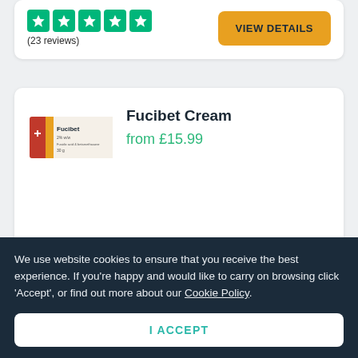[Figure (other): Five green star rating icons in a row]
(23 reviews)
VIEW DETAILS
Fucibet Cream
from £15.99
[Figure (photo): Fucibet cream product box — white box with red and yellow stripe, showing the product name Fucibet]
[Figure (other): Five small green star rating icons in a row (partial product card bottom)]
We use website cookies to ensure that you receive the best experience. If you're happy and would like to carry on browsing click 'Accept', or find out more about our Cookie Policy.
I ACCEPT